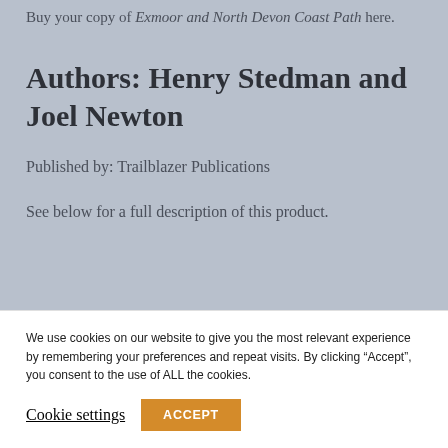Buy your copy of Exmoor and North Devon Coast Path here.
Authors: Henry Stedman and Joel Newton
Published by: Trailblazer Publications
See below for a full description of this product.
We use cookies on our website to give you the most relevant experience by remembering your preferences and repeat visits. By clicking “Accept”, you consent to the use of ALL the cookies.
Cookie settings
ACCEPT